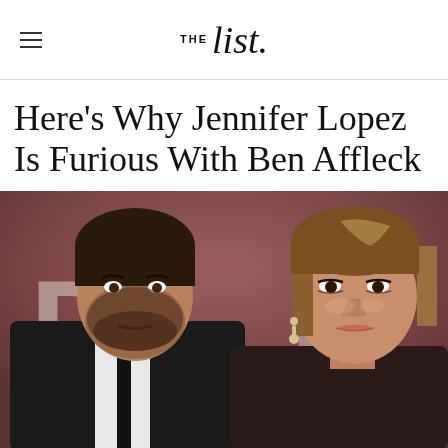THE List.
Here's Why Jennifer Lopez Is Furious With Ben Affleck
[Figure (photo): Ben Affleck and Jennifer Lopez posing together at a red carpet event. Ben Affleck is on the left wearing a black suit with white shirt and black tie, with a beard. Jennifer Lopez is on the right with long highlighted hair pulled back, wearing dangling earrings. The background appears to be a dark red/maroon leather backdrop with partial text letters visible.]